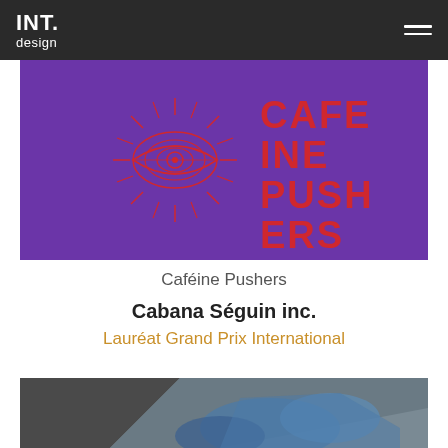INT. design
[Figure (logo): Caféine Pushers brand logo on purple background — red geometric sun/eye illustration with red stacked text reading CAFE INE PUSH ERS]
Caféine Pushers
Cabana Séguin inc.
Lauréat Grand Prix International
[Figure (photo): Partial photo of an interior space with blue/grey tones at the bottom of the page]